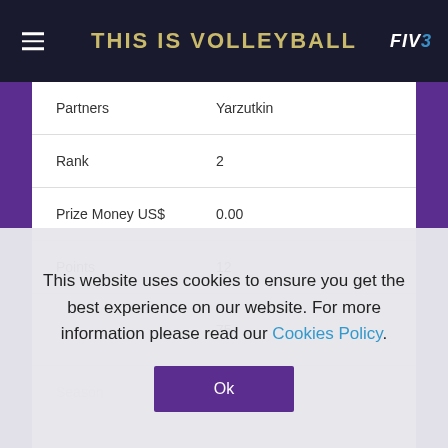THIS IS VOLLEYBALL
| Field | Value |
| --- | --- |
| Partners | Yarzutkin |
| Rank | 2 |
| Prize Money US$ | 0.00 |
| Points | 12 |
|  | 75 |
| Season | 2015 |
| Type | OFS |
This website uses cookies to ensure you get the best experience on our website. For more information please read our Cookies Policy.